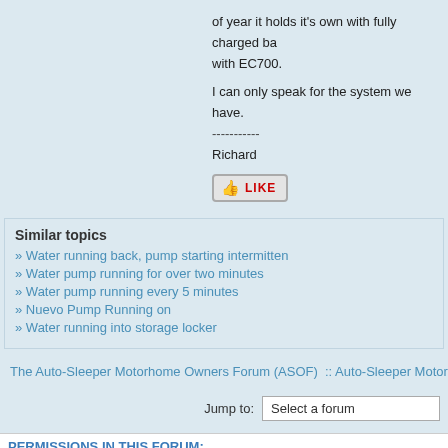of year it holds it's own with fully charged ba with EC700.

I can only speak for the system we have.
-----------
Richard
[Figure (other): LIKE button with thumbs-up icon]
Similar topics
» Water running back, pump starting intermitten
» Water pump running for over two minutes
» Water pump running every 5 minutes
» Nuevo Pump Running on
» Water running into storage locker
The Auto-Sleeper Motorhome Owners Forum (ASOF)  :: Auto-Sleeper Motorhom
Jump to:   Select a forum
PERMISSIONS IN THIS FORUM:
You cannot reply to topics in this forum